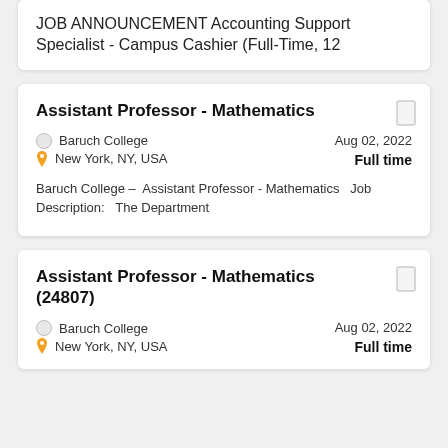JOB ANNOUNCEMENT Accounting Support Specialist - Campus Cashier (Full-Time, 12
Assistant Professor - Mathematics
Baruch College
New York, NY, USA
Aug 02, 2022
Full time
Baruch College –  Assistant Professor - Mathematics   Job Description:   The Department
Assistant Professor - Mathematics (24807)
Baruch College
New York, NY, USA
Aug 02, 2022
Full time